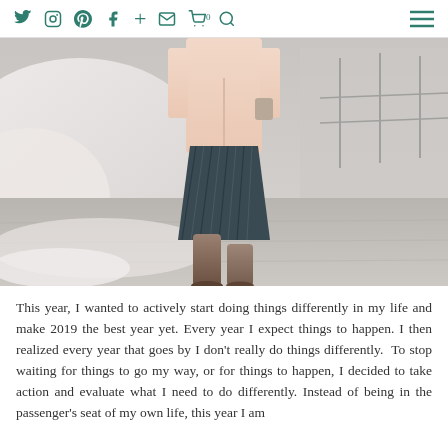Social media navigation icons: Twitter, Instagram, Pinterest, Facebook, Plus, Email, Cart (0), Search, Hamburger menu
[Figure (photo): A person walking outdoors in winter, wearing a pink coat, dark pleated midi skirt, and tall brown suede boots, on a snowy/slushy pavement surface.]
This year, I wanted to actively start doing things differently in my life and make 2019 the best year yet. Every year I expect things to happen. I then realized every year that goes by I don't really do things differently.  To stop waiting for things to go my way, or for things to happen, I decided to take action and evaluate what I need to do differently. Instead of being in the passenger's seat of my own life, this year I am